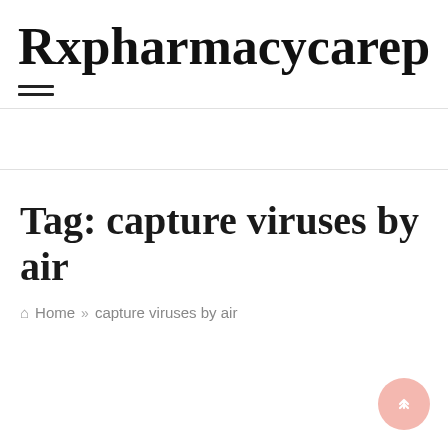Rxpharmacycarep
Tag: capture viruses by air
Home » capture viruses by air